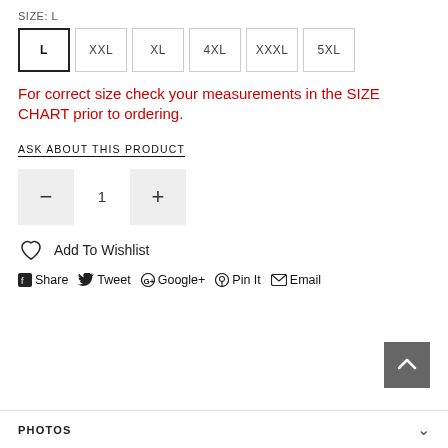SIZE: L
L  XXL  XL  4XL  XXXL  5XL
For correct size check your measurements in the SIZE CHART prior to ordering.
ASK ABOUT THIS PRODUCT
− 1 +
Add To Wishlist
Share  Tweet  G+ Google+  Pin It  Email
PHOTOS